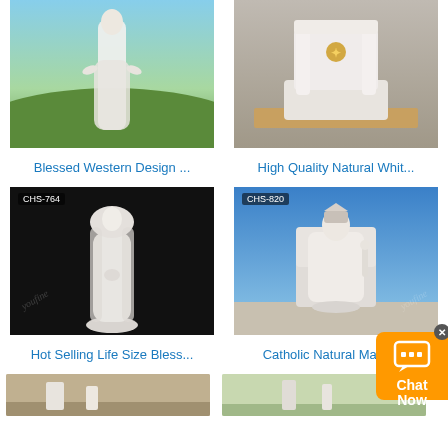[Figure (photo): White marble statue of Virgin Mary outdoors on green hillside with blue sky]
Blessed Western Design ...
[Figure (photo): White marble altar or tabernacle with columns and gold decoration on pavement]
High Quality Natural Whit...
[Figure (photo): CHS-764: White marble Virgin Mary praying statue on black background]
Hot Selling Life Size Bless...
[Figure (photo): CHS-820: White marble seated king/religious figure statue outdoors with blue sky]
Catholic Natural Marble...
[Figure (photo): Bottom left partial product image]
[Figure (photo): Bottom right partial product image]